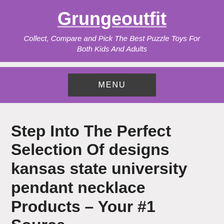Grungeoutfit
Collect, Compare and Pick The Best Puzzle Toys For Both Kids And Adults
MENU
Step Into The Perfect Selection Of designs kansas state university pendant necklace Products – Your #1 Source
Though they all seem legit and popular, it can be complicated